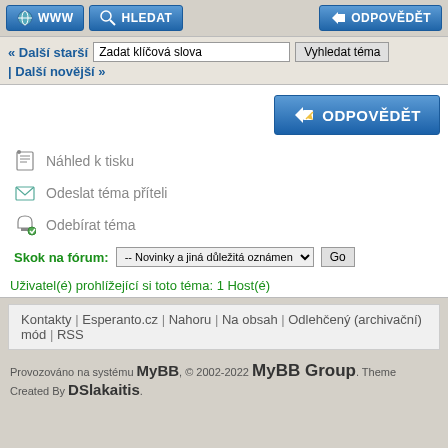[Figure (screenshot): Top navigation bar with WWW and HLEDAT buttons on left, ODPOVĚDĚT button on right]
« Další starší | Zadat klíčová slova | Vyhledat téma
| Další novější »
[Figure (screenshot): ODPOVĚDĚT button with pencil icon]
Náhled k tisku
Odeslat téma příteli
Odebírat téma
Skok na fórum: -- Novinky a jiná důležitá oznámení  Go
Uživatel(é) prohlížející si toto téma: 1 Host(é)
Kontakty | Esperanto.cz | Nahoru | Na obsah | Odlehčený (archivační) mód | RSS
Provozováno na systému MyBB, © 2002-2022 MyBB Group. Theme Created By DSlakaitis.